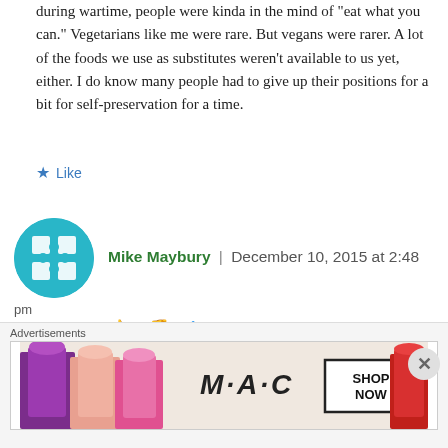during wartime, people were kinda in the mind of "eat what you can." Vegetarians like me were rare. But vegans were rarer. A lot of the foods we use as substitutes weren't available to us yet, either. I do know many people had to give up their positions for a bit for self-preservation for a time.
★ Like
[Figure (illustration): Circular avatar with teal/cyan background featuring a white geometric diamond/kite pattern logo for WordPress or similar CMS.]
Mike Maybury | December 10, 2015 at 2:48 pm
👍 6 👎 3 ℹ Rate This
Donald Watson, who founded the Vegan Society
Advertisements
[Figure (screenshot): MAC cosmetics advertisement showing colorful lipsticks with text SHOP NOW]